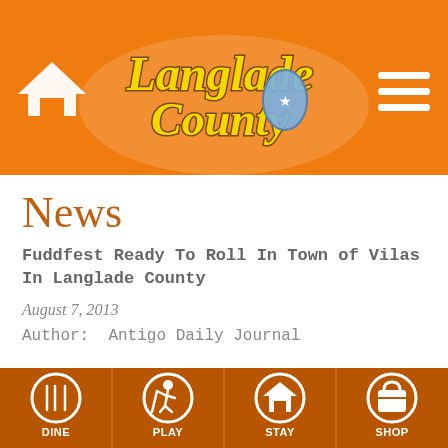[Figure (logo): Langlade County logo with orange background, home icon on left, hamburger menu on right]
News
Fuddfest Ready To Roll In Town of Vilas In Langlade County
August 7, 2013
Author:  Antigo Daily Journal
[Figure (infographic): Bottom navigation bar with four items: DINE, PLAY, STAY, SHOP on dark orange background with circular icons]